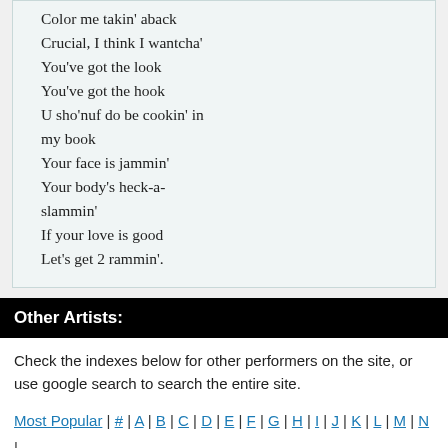Color me takin' aback
Crucial, I think I wantcha'
You've got the look
You've got the hook
U sho'nuf do be cookin' in my book
Your face is jammin'
Your body's heck-a-slammin'
If your love is good
Let's get 2 rammin'.
Other Artists:
Check the indexes below for other performers on the site, or use google search to search the entire site.
Most Popular | # | A | B | C | D | E | F | G | H | I | J | K | L | M | N | O | P | Q | R | S | T | U | V | W | X | Y | Z